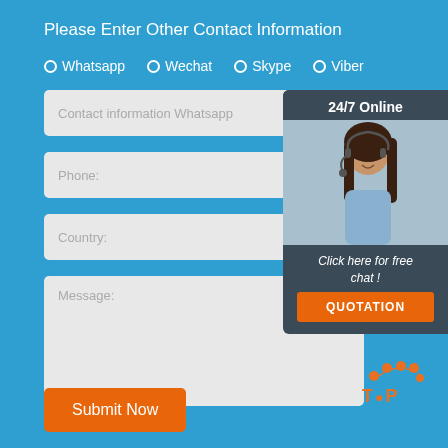Please Enter Other Contact Information
Whatsapp
Wechat
Skype
Viber
Contact information Whatsapp
24/7 Online
Phone:
Country:
Message:
Click here for free chat !
QUOTATION
[Figure (other): TOP button with orange dot logo]
Submit Now